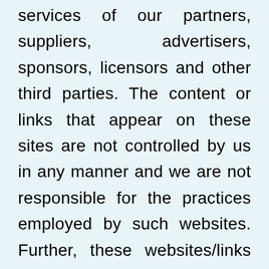services of our partners, suppliers, advertisers, sponsors, licensors and other third parties. The content or links that appear on these sites are not controlled by us in any manner and we are not responsible for the practices employed by such websites. Further, these websites/links thereto, including their content, may be constantly changing and the may have their own terms of use and privacy policies. Browsing and interaction on any other website, including websites which have a